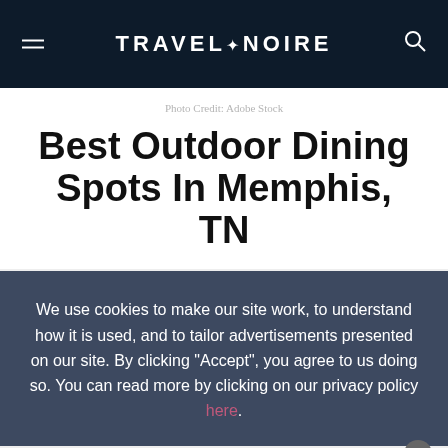TRAVEL+NOIRE
Photo Credit: Adobe Stock
Best Outdoor Dining Spots In Memphis, TN
We use cookies to make our site work, to understand how it is used, and to tailor advertisements presented on our site. By clicking “Accept”, you agree to us doing so. You can read more by clicking on our privacy policy here.